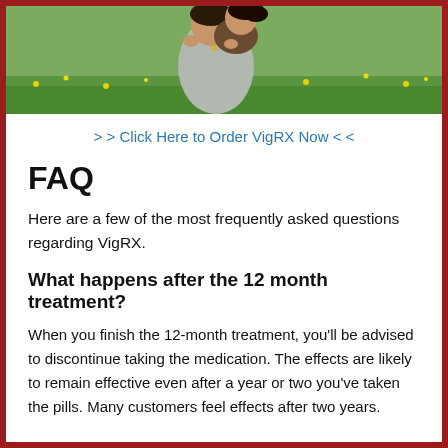[Figure (photo): A couple outdoors in a grassy field with yellow flowers; a man giving a woman a piggyback ride, both smiling.]
> > Click Here to Order VigRX Now < <
FAQ
Here are a few of the most frequently asked questions regarding VigRX.
What happens after the 12 month treatment?
When you finish the 12-month treatment, you'll be advised to discontinue taking the medication. The effects are likely to remain effective even after a year or two you've taken the pills. Many customers feel effects after two years.